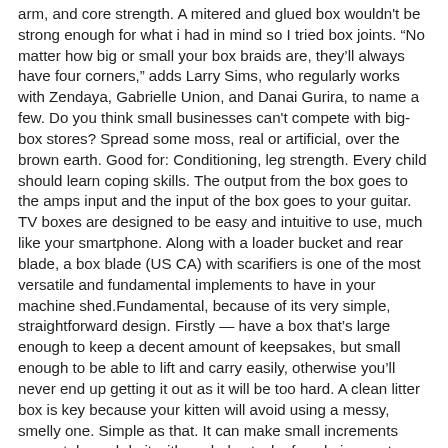arm, and core strength. A mitered and glued box wouldn't be strong enough for what i had in mind so I tried box joints. “No matter how big or small your box braids are, they’ll always have four corners,” adds Larry Sims, who regularly works with Zendaya, Gabrielle Union, and Danai Gurira, to name a few. Do you think small businesses can't compete with big-box stores? Spread some moss, real or artificial, over the brown earth. Good for: Conditioning, leg strength. Every child should learn coping skills. The output from the box goes to the amps input and the input of the box goes to your guitar. TV boxes are designed to be easy and intuitive to use, much like your smartphone. Along with a loader bucket and rear blade, a box blade (US CA) with scarifiers is one of the most versatile and fundamental implements to have in your machine shed.Fundamental, because of its very simple, straightforward design. Firstly — have a box that’s large enough to keep a decent amount of keepsakes, but small enough to be able to lift and carry easily, otherwise you’ll never end up getting it out as it will be too hard. A clean litter box is key because your kitten will avoid using a messy, smelly one. Simple as that. It can make small increments accurately, and do it with a whole stack of workpieces at once. Two options: make a smaller shipping lable, or put the smaller box i a box large enough to take the lable on one side. What program am I missing. Cut a small piece of lace and lay that on the top left side of box. In general, all you really need to do is plug your TV box into your internet router, and then into your television, and the interface will appear on your screen. Then — make a promise not to keep anything more than what can fit in the box. Some ideas to do … Four questions to ask before throwing away a product box. For DIYers less inclined to